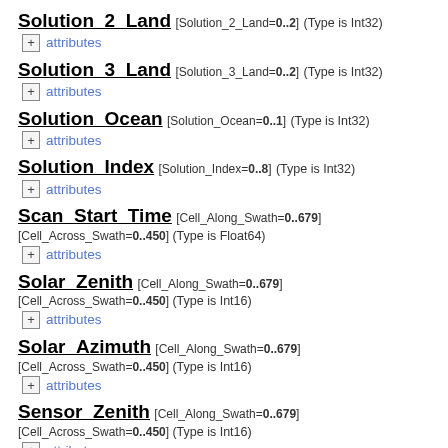Solution_2_Land [Solution_2_Land=0..2] (Type is Int32) + attributes
Solution_3_Land [Solution_3_Land=0..2] (Type is Int32) + attributes
Solution_Ocean [Solution_Ocean=0..1] (Type is Int32) + attributes
Solution_Index [Solution_Index=0..8] (Type is Int32) + attributes
Scan_Start_Time [Cell_Along_Swath=0..679] [Cell_Across_Swath=0..450] (Type is Float64) + attributes
Solar_Zenith [Cell_Along_Swath=0..679] [Cell_Across_Swath=0..450] (Type is Int16) + attributes
Solar_Azimuth [Cell_Along_Swath=0..679] [Cell_Across_Swath=0..450] (Type is Int16) + attributes
Sensor_Zenith [Cell_Along_Swath=0..679] [Cell_Across_Swath=0..450] (Type is Int16) + attributes
Sensor_Azimuth [Cell_Along_Swath=0..679] [Cell_Across_Swath=0..450] (Type is Int16)